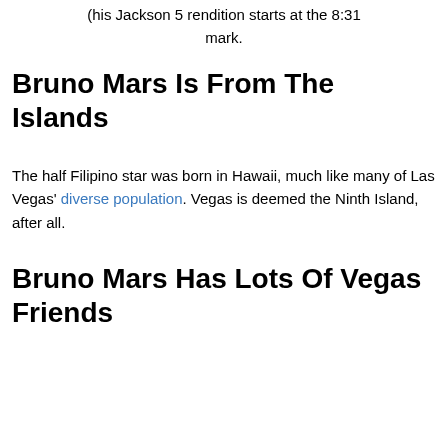(his Jackson 5 rendition starts at the 8:31 mark.
Bruno Mars Is From The Islands
The half Filipino star was born in Hawaii, much like many of Las Vegas' diverse population. Vegas is deemed the Ninth Island, after all.
Bruno Mars Has Lots Of Vegas Friends